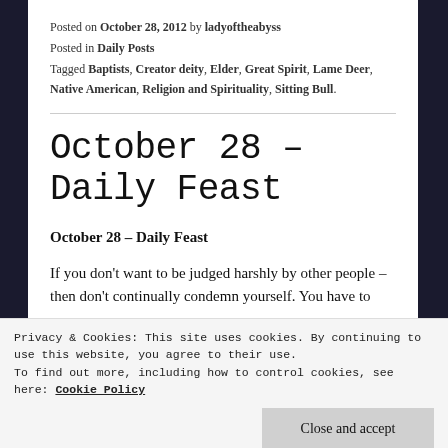Posted on October 28, 2012 by ladyoftheabyss
Posted in Daily Posts
Tagged Baptists, Creator deity, Elder, Great Spirit, Lame Deer, Native American, Religion and Spirituality, Sitting Bull.
October 28 – Daily Feast
October 28 – Daily Feast
If you don't want to be judged harshly by other people – then don't continually condemn yourself. You have to
Privacy & Cookies: This site uses cookies. By continuing to use this website, you agree to their use.
To find out more, including how to control cookies, see here: Cookie Policy
Close and accept